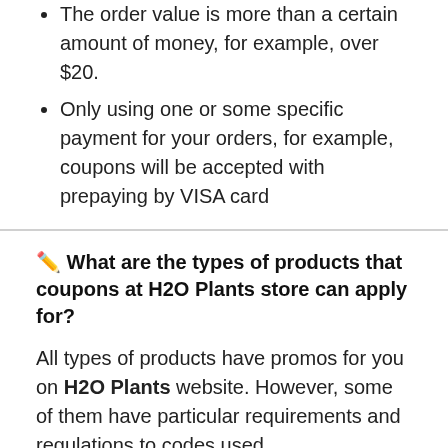The order value is more than a certain amount of money, for example, over $20.
Only using one or some specific payment for your orders, for example, coupons will be accepted with prepaying by VISA card
🖊 What are the types of products that coupons at H2O Plants store can apply for?
All types of products have promos for you on H2O Plants website. However, some of them have particular requirements and regulations to codes used.
🖊 Where do I find the requirements for a H2O